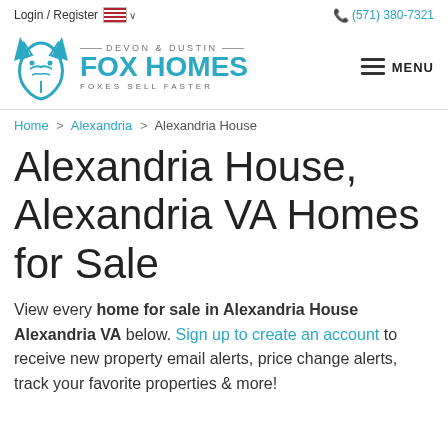Login / Register   🇺🇸 ∨   (571) 380-7321
[Figure (logo): Devon & Dustin Fox Homes logo with teal fox icon and text 'DEVON & DUSTIN FOX HOMES FOXES SELL FASTER']
Home > Alexandria > Alexandria House
Alexandria House, Alexandria VA Homes for Sale
View every home for sale in Alexandria House Alexandria VA below. Sign up to create an account to receive new property email alerts, price change alerts, track your favorite properties & more!